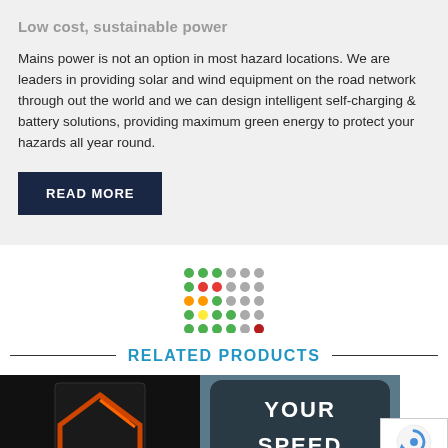Low cost, sustainable power
Mains power is not an option in most hazard locations. We are leaders in providing solar and wind equipment on the road network through out the world and we can design intelligent self-charging & battery solutions, providing maximum green energy to protect your hazards all year round.
READ MORE
[Figure (logo): Colorful dot grid logo/icon with dots in green, red, orange, yellow, gray and dark red arranged in a 6x5 grid pattern]
RELATED PRODUCTS
[Figure (photo): A road warning sign showing a house/chevron shape in orange/red on black background]
[Figure (photo): A speed sign showing 'YOUR SPEED' text in white/gray on dark background]